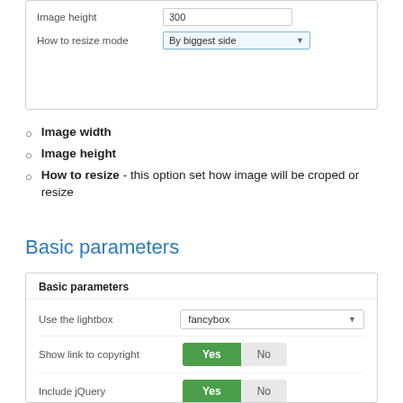[Figure (screenshot): Form panel showing 'Image height' field with value 300 and 'How to resize mode' dropdown set to 'By biggest side']
Image width
Image height
How to resize - this option set how image will be croped or resize
Basic parameters
[Figure (screenshot): Basic parameters form panel with Use the lightbox dropdown (fancybox), Show link to copyright toggle (Yes/No), Include jQuery toggle (Yes/No)]